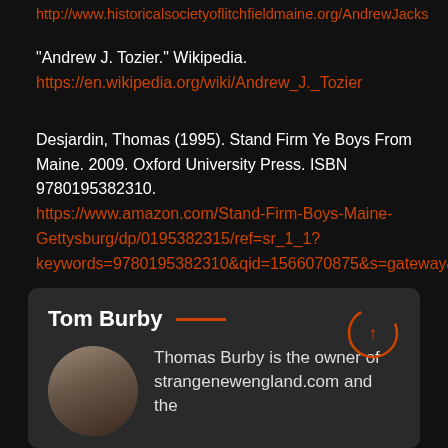http://www.historicalsocietyoflitchfieldmaine.org/AndrewJacks...
"Andrew J. Tozier." Wikipedia.
https://en.wikipedia.org/wiki/Andrew_J._Tozier
Desjardin, Thomas (1995). Stand Firm Ye Boys From Maine. 2009. Oxford University Press. ISBN 9780195382310.
https://www.amazon.com/Stand-Firm-Boys-Maine-Gettysburg/dp/0195382315/ref=sr_1_1?keywords=9780195382310&qid=1566070875&s=gateway&sr=1
Tom Burby
Thomas Burby is the owner of strangenewengland.com and the